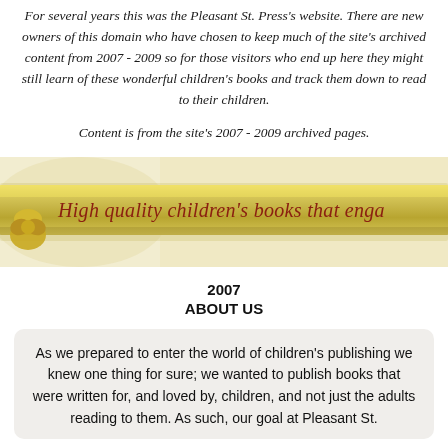For several years this was the Pleasant St. Press's website. There are new owners of this domain who have chosen to keep much of the site's archived content from 2007 - 2009 so for those visitors who end up here they might still learn of these wonderful children's books and track them down to read to their children.
Content is from the site's 2007 - 2009 archived pages.
[Figure (illustration): A decorative banner ribbon in gold/yellow tones with the text 'High quality children's books that enga' (truncated). A gold knot/bow decorates the left side of the ribbon. Background is a light cream/yellow textured color.]
2007
ABOUT US
As we prepared to enter the world of children's publishing we knew one thing for sure; we wanted to publish books that were written for, and loved by, children, and not just the adults reading to them. As such, our goal at Pleasant St.